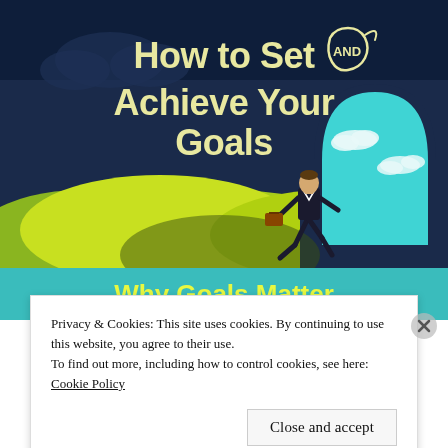[Figure (illustration): Book cover illustration: dark blue night sky background with yellow-green rolling hills. A businessman in a suit carrying a briefcase walks through an arch-shaped doorway revealing a bright cyan/teal sky with clouds beyond. Large bold text at top reads 'How to Set AND Achieve Your Goals'. A teal banner at the bottom reads 'Why Goals Matter' in bold white/yellow text.]
Privacy & Cookies: This site uses cookies. By continuing to use this website, you agree to their use.
To find out more, including how to control cookies, see here:
Cookie Policy
Close and accept